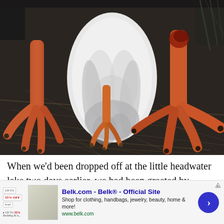[Figure (photo): Close-up photograph of a bird (likely sandhill crane or similar large bird) lying on dry grass/straw, showing its orange-red feet and talons with white and gray feathers visible on its body.]
When we'd been dropped off at the little headwater lake two days earlier, we had been greeted by unusual weather for the western slope of the Alaska Range-
[Figure (other): Advertisement banner for Belk.com - Belk® Official Site. Shows thumbnail image of merchandise, badges for up to 55% off, text: Shop for clothing, handbags, jewelry, beauty, home & more! www.belk.com, with a blue circular arrow button.]